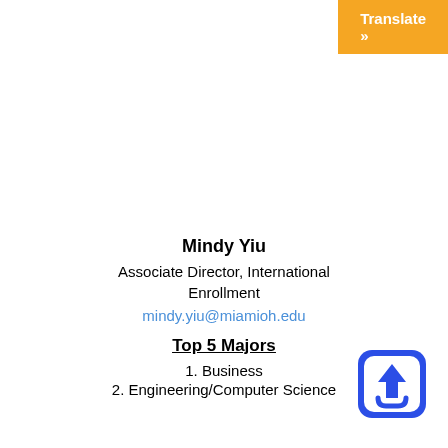[Figure (other): Orange 'Translate »' button in top-right corner]
Mindy Yiu
Associate Director, International Enrollment
mindy.yiu@miamioh.edu
Top 5 Majors
1. Business
2. Engineering/Computer Science
[Figure (other): Blue rounded square upload/share icon in bottom-right area]